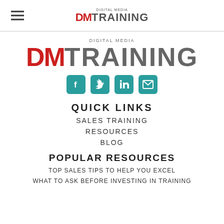DM TRAINING (Digital Media) — header logo with hamburger menu
[Figure (logo): Digital Media DM TRAINING logo — DM in red bold, TRAINING in grey]
[Figure (infographic): Four teal rounded square social media icons: Facebook, Twitter, LinkedIn, Email]
QUICK LINKS
SALES TRAINING
RESOURCES
BLOG
POPULAR RESOURCES
TOP SALES TIPS TO HELP YOU EXCEL
WHAT TO ASK BEFORE INVESTING IN TRAINING